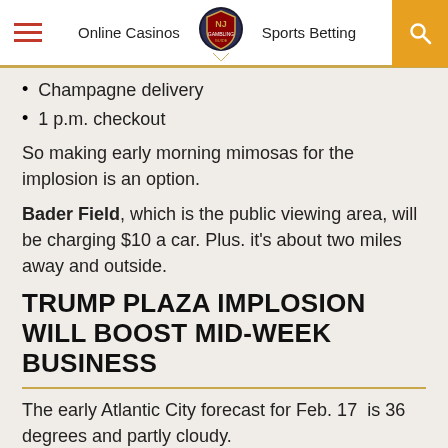Online Casinos | NJ Gambling | Sports Betting
Champagne delivery
1 p.m. checkout
So making early morning mimosas for the implosion is an option.
Bader Field, which is the public viewing area, will be charging $10 a car. Plus. it's about two miles away and outside.
TRUMP PLAZA IMPLOSION WILL BOOST MID-WEEK BUSINESS
The early Atlantic City forecast for Feb. 17  is 36 degrees and partly cloudy.